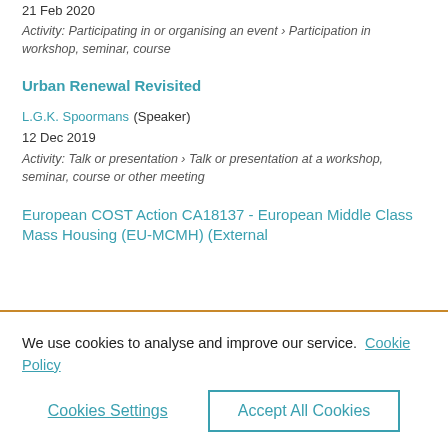( ... p. )
21 Feb 2020
Activity: Participating in or organising an event › Participation in workshop, seminar, course
Urban Renewal Revisited
L.G.K. Spoormans (Speaker)
12 Dec 2019
Activity: Talk or presentation › Talk or presentation at a workshop, seminar, course or other meeting
European COST Action CA18137 - European Middle Class Mass Housing (EU-MCMH) (External
We use cookies to analyse and improve our service.  Cookie Policy
Cookies Settings
Accept All Cookies